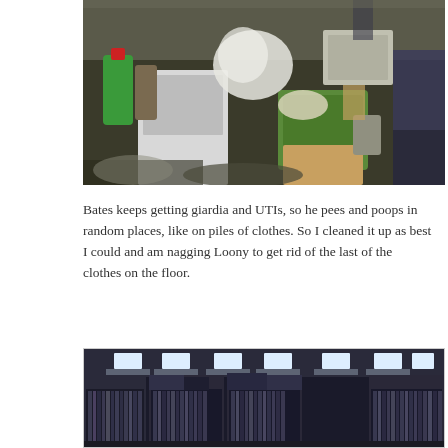[Figure (photo): A cluttered, messy room with laundry detergent bottles, plastic bags, canned goods, a green laundry basket full of items, boxes, and various household items piled on surfaces and the floor.]
Bates keeps getting giardia and UTIs, so he pees and poops in random places, like on piles of clothes. So I cleaned it up as best I could and am nagging Loony to get rid of the last of the clothes on the floor.
[Figure (photo): A dark room showing shelves densely packed with vinyl records or books, with bright rectangular lights visible at the top of the image illuminating the storage area.]